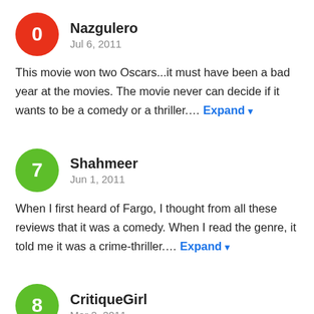Nazgulero
Jul 6, 2011
This movie won two Oscars...it must have been a bad year at the movies. The movie never can decide if it wants to be a comedy or a thriller….
Shahmeer
Jun 1, 2011
When I first heard of Fargo, I thought from all these reviews that it was a comedy. When I read the genre, it told me it was a crime-thriller….
CritiqueGirl
Mar 2, 2011
Very gruesome and that was with seeing it on TV. However, a great black comedy. When it was funny, it was funny. The